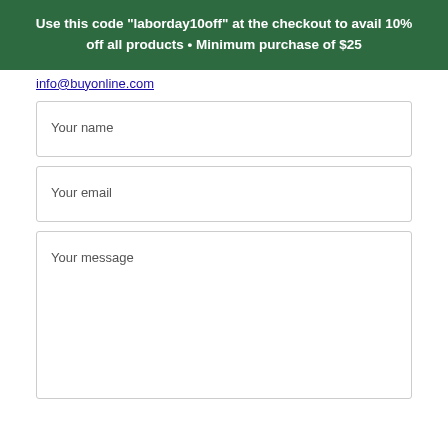Use this code "laborday10off" at the checkout to avail 10% off all products • Minimum purchase of $25
info@buyonline.com
Your name
Your email
Your message